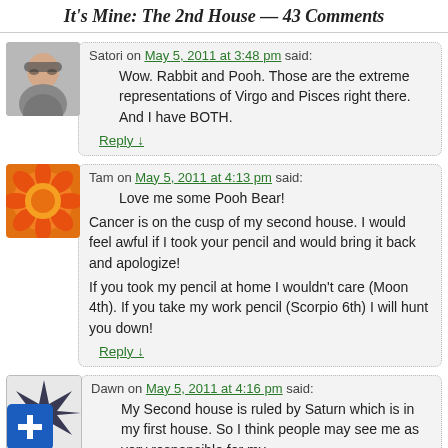It's Mine: The 2nd House — 43 Comments
Satori on May 5, 2011 at 3:48 pm said:
Wow. Rabbit and Pooh. Those are the extreme representations of Virgo and Pisces right there. And I have BOTH.
Reply ↓
Tam on May 5, 2011 at 4:13 pm said:
Love me some Pooh Bear!

Cancer is on the cusp of my second house. I would feel awful if I took your pencil and would bring it back and apologize!

If you took my pencil at home I wouldn't care (Moon 4th). If you take my work pencil (Scorpio 6th) I will hunt you down!
Reply ↓
Dawn on May 5, 2011 at 4:16 pm said:
My Second house is ruled by Saturn which is in my first house. So I think people may see me as very responsible for my...